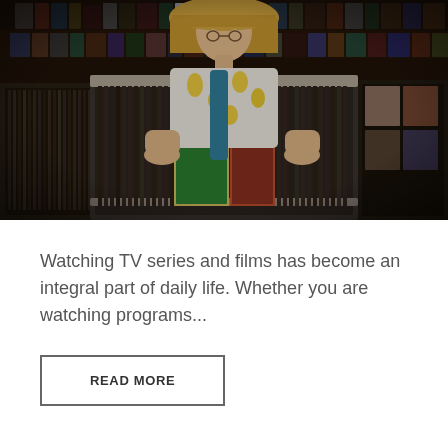[Figure (photo): A young woman with blonde bangs wearing a white t-shirt with yellow lemon print, browsing through vinyl records at a record store. Shelves filled with albums and media are visible in the background.]
Watching TV series and films has become an integral part of daily life. Whether you are watching programs...
READ MORE